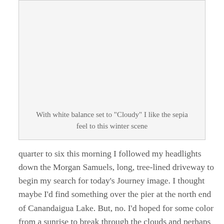[Figure (photo): A photo placeholder box — winter scene image referenced in caption below]
With white balance set to "Cloudy" I like the sepia feel to this winter scene
quarter to six this morning I followed my headlights down the Morgan Samuels, long, tree-lined driveway to begin my search for today's Journey image. I thought maybe I'd find something over the pier at the north end of Canandaigua Lake. But, no. I'd hoped for some color from a sunrise to break through the clouds and perhaps reflect off the surface of a little open water or even fresh snow and ice on the lake. Wasn't going to happen. So, I wound my way west and then south, down past Bristol Mountain, along the west side of the lake and the incredibly beautiful homes that look east. Gray skies were dominant and my spirits began to take on their flavor. What I did see was too much like so many other images I've captured of